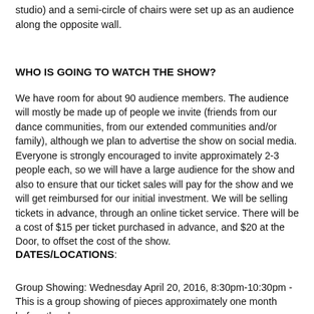studio) and a semi-circle of chairs were set up as an audience along the opposite wall.
WHO IS GOING TO WATCH THE SHOW?
We have room for about 90 audience members.  The audience will mostly be made up of people we invite (friends from our dance communities, from our extended communities and/or family), although we plan to advertise the show on social media. Everyone is strongly encouraged to invite approximately 2-3 people each, so we will have a large audience for the show and also to ensure that our ticket sales will pay for the show and we will get reimbursed for our initial investment.  We will be selling tickets in advance, through an online ticket service. There will be a cost of $15 per ticket purchased in advance, and $20 at the Door, to offset the cost of the show.
DATES/LOCATIONS:
Group Showing:  Wednesday April 20, 2016, 8:30pm-10:30pm - This is a group showing of pieces approximately one month before the show.